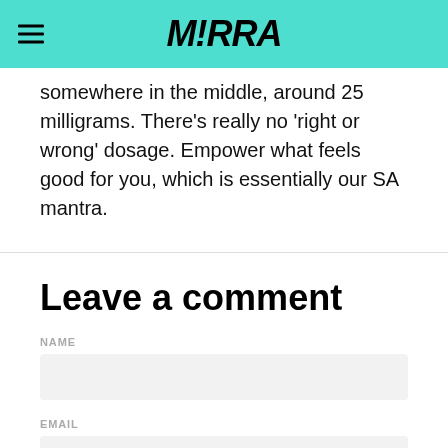M!RRA
somewhere in the middle, around 25 milligrams. There’s really no ‘right or wrong’ dosage. Empower what feels good for you, which is essentially our SA mantra.
Leave a comment
NAME
EMAIL